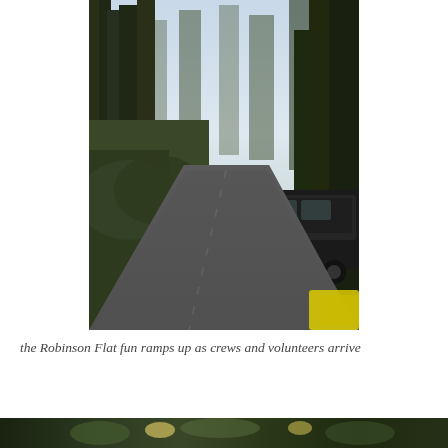[Figure (photo): A forest road lined with tall evergreen trees. A person in an orange shirt is standing next to a dark SUV parked on the right side of the road. In the distance, a yellow school bus and other vehicles are visible. The scene appears to be early morning or evening with hazy light.]
the Robinson Flat fun ramps up as crews and volunteers arrive
[Figure (photo): Partial view of another outdoor scene at the bottom of the page.]